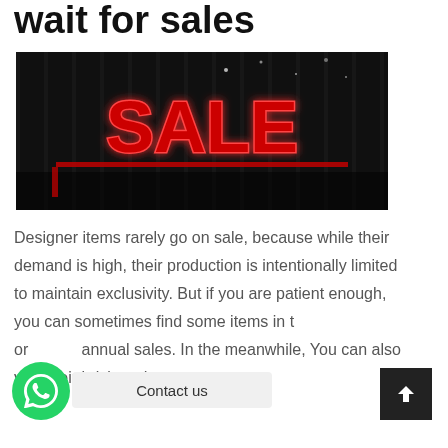wait for sales
[Figure (photo): Neon red SALE sign on a dark background, inside what appears to be a shop window with metal shutters]
Designer items rarely go on sale, because while their demand is high, their production is intentionally limited to maintain exclusivity. But if you are patient enough, you can sometimes find some items in their annual sales. In the meanwhile, You can also visit their brick-and-